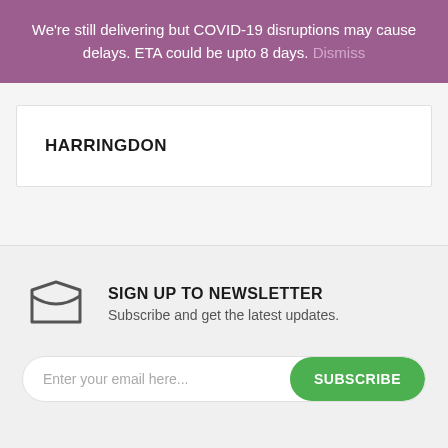We're still delivering but COVID-19 disruptions may cause delays. ETA could be upto 8 days. Dismiss
HARRINGDON
SIGN UP TO NEWSLETTER
Subscribe and get the latest updates.
Enter your email here... SUBSCRIBE